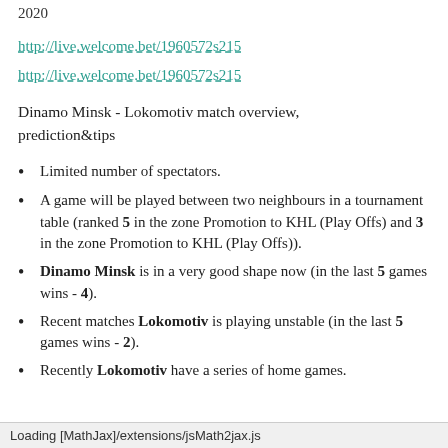2020
http://live.welcome.bet/1960572s215
http://live.welcome.bet/1960572s215
Dinamo Minsk - Lokomotiv match overview, prediction&tips
Limited number of spectators.
A game will be played between two neighbours in a tournament table (ranked 5 in the zone Promotion to KHL (Play Offs) and 3 in the zone Promotion to KHL (Play Offs)).
Dinamo Minsk is in a very good shape now (in the last 5 games wins - 4).
Recent matches Lokomotiv is playing unstable (in the last 5 games wins - 2).
Recently Lokomotiv have a series of home games.
Loading [MathJax]/extensions/jsMath2jax.js